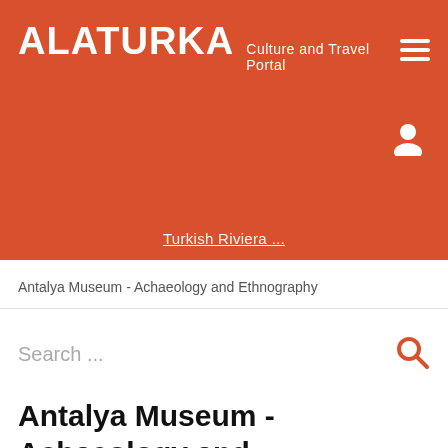ALATURKA Culture and Travel Portal
Turkish Riviera
Antalya Museum - Achaeology and Ethnography
Search ...
Antalya Museum - Achaeology and Ethnography
Friday, 25 March 2016 00:00